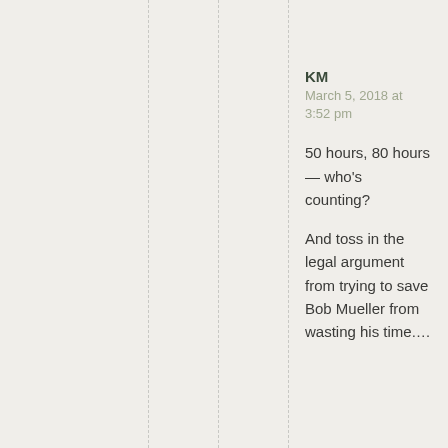KM
March 5, 2018 at 3:52 pm
50 hours, 80 hours — who's counting?

And toss in the legal argument from trying to save Bob Mueller from wasting his time….